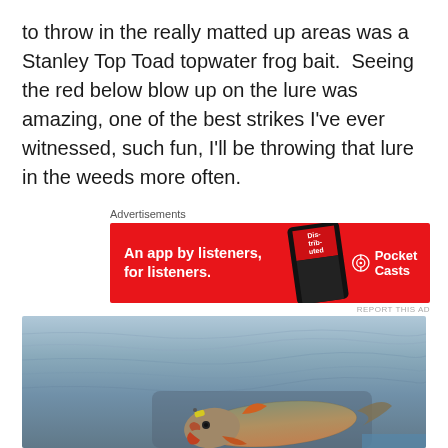to throw in the really matted up areas was a Stanley Top Toad topwater frog bait.  Seeing the red below blow up on the lure was amazing, one of the best strikes I've ever witnessed, such fun, I'll be throwing that lure in the weeds more often.
[Figure (other): Advertisement banner for Pocket Casts app: red background with text 'An app by listeners, for listeners.' and Pocket Casts logo on right, phone graphic in center.]
[Figure (photo): Photo of a fish being held at the water surface. The fish appears to be a large-mouth or red drum type fish with visible scales, orange/red coloring near the mouth and fins, and a yellow lure/bait visible. The water background shows rippled grey-blue lake or river water.]